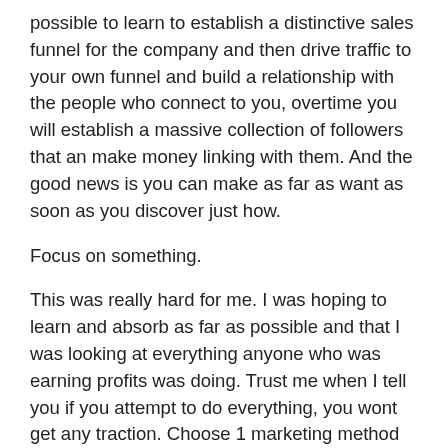possible to learn to establish a distinctive sales funnel for the company and then drive traffic to your own funnel and build a relationship with the people who connect to you, overtime you will establish a massive collection of followers that an make money linking with them. And the good news is you can make as far as want as soon as you discover just how.
Focus on something.
This was really hard for me. I was hoping to learn and absorb as far as possible and that I was looking at everything anyone who was earning profits was doing. Trust me when I tell you if you attempt to do everything, you wont get any traction. Choose 1 marketing method you prefer and focus on and soon you master it. Should you spread yourself too thin, nothing will work. If you focus, you may shine in it.